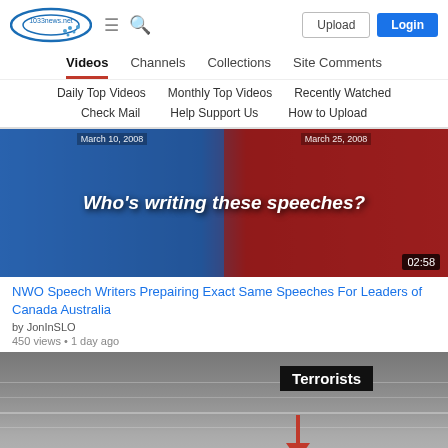1033news.net — Upload | Login | Videos | Channels | Collections | Site Comments | Daily Top Videos | Monthly Top Videos | Recently Watched | Check Mail | Help Support Us | How to Upload
[Figure (screenshot): Video thumbnail showing Australian and Canadian flags with text 'Who's writing these speeches?' and dates March 10, 2008 and March 20, 2008. Duration badge: 02:58]
NWO Speech Writers Prepairing Exact Same Speeches For Leaders of Canada Australia
by JonInSLO
450 views • 1 day ago
[Figure (screenshot): Grayscale video thumbnail showing ocean/water with a black label 'Terrorists' and red arrow pointing downward]